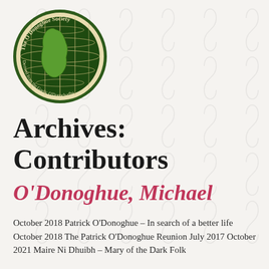[Figure (logo): The O'Donoghue Society circular seal/logo with green background, globe grid, Ireland map shape, and text 'The O'Donoghue Society' and 'Derived from the Gaelic O'Donnchadha' around the border in gold/cream lettering]
Archives: Contributors
O'Donoghue, Michael
October 2018 Patrick O'Donoghue – In search of a better life October 2018 The Patrick O'Donoghue Reunion July 2017 October 2021 Maire Ni Dhuibh – Mary of the Dark Folk